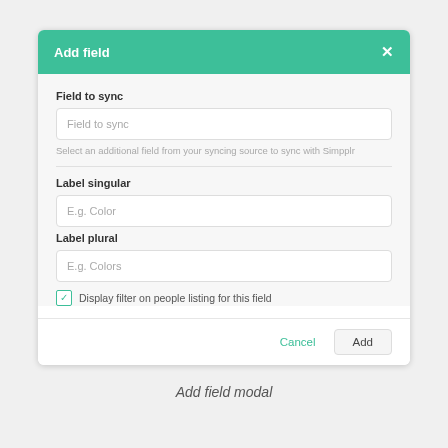[Figure (screenshot): A modal dialog titled 'Add field' with a teal header and close button. Contains form fields: 'Field to sync' (with placeholder text 'Field to sync' and hint text 'Select an additional field from your syncing source to sync with Simpplr'), 'Label singular' (placeholder 'E.g. Color'), 'Label plural' (placeholder 'E.g. Colors'), a checked checkbox labeled 'Display filter on people listing for this field', and footer buttons 'Cancel' and 'Add'.]
Add field modal